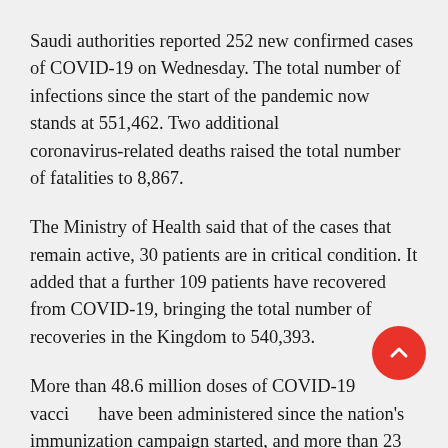Saudi authorities reported 252 new confirmed cases of COVID-19 on Wednesday. The total number of infections since the start of the pandemic now stands at 551,462. Two additional coronavirus-related deaths raised the total number of fatalities to 8,867.
The Ministry of Health said that of the cases that remain active, 30 patients are in critical condition. It added that a further 109 patients have recovered from COVID-19, bringing the total number of recoveries in the Kingdom to 540,393.
More than 48.6 million doses of COVID-19 vaccines have been administered since the nation's immunization campaign started, and more than 23 million people are fully vaccinated.
[Figure (other): Red circular scroll-to-top button with an upward chevron arrow icon]